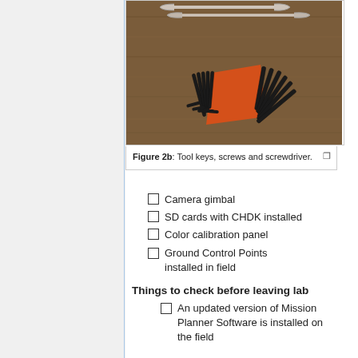[Figure (photo): Photo of Allen/hex keys (L-shaped wrenches) with an orange holder/organizer on a wooden table surface, with open-end wrenches visible at the top.]
Figure 2b: Tool keys, screws and screwdriver.
Camera gimbal
SD cards with CHDK installed
Color calibration panel
Ground Control Points installed in field
Things to check before leaving lab
An updated version of Mission Planner Software is installed on the field